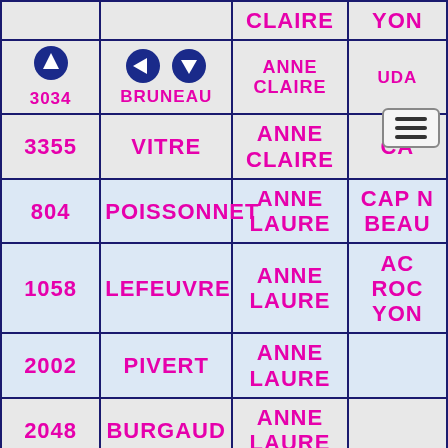| ID | NOM | PRENOM | CLUB |
| --- | --- | --- | --- |
|  | BRUNEAU | ANNE CLAIRE | UDA... |
| 3355 | VITRE | ANNE CLAIRE | CA... |
| 804 | POISSONNET | ANNE LAURE | CAP N... BEAU... |
| 1058 | LEFEUVRE | ANNE LAURE | AC ROC... YON... |
| 2002 | PIVERT | ANNE LAURE |  |
| 2048 | BURGAUD | ANNE LAURE |  |
| 2733 | MERCERON | ANNE LAURE |  |